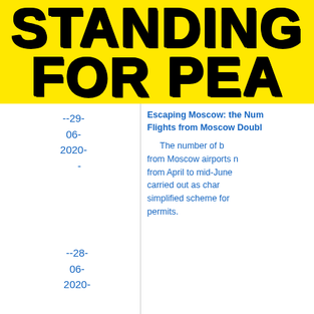[Figure (other): Yellow banner header with bold dark blue distressed/cracked text reading 'STANDING FOR PEA' (cut off at right edge)]
--29-
06-
2020-
-
Escaping Moscow: the Num... Flights from Moscow Doubl...
The number of b... from Moscow airports n... from April to mid-June... carried out as char... simplified scheme for... permits.
--28-
06-
2020-